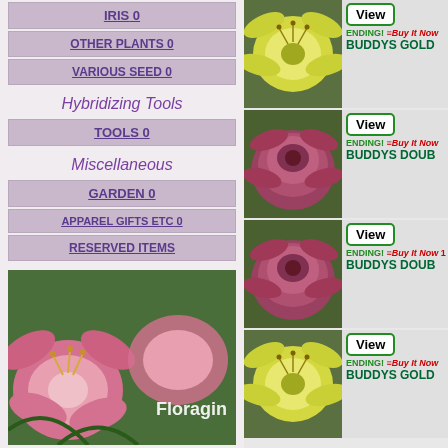IRIS 0
OTHER PLANTS 0
VARIOUS SEED 0
Hybridizing Tools
TOOLS 0
Miscellaneous
GARDEN 0
APPAREL GIFTS ETC 0
RESERVED ITEMS
[Figure (photo): Pink daylily flowers with text 'Floragin' watermark]
[Figure (photo): Yellow daylily flower listing - BUDDYS GOLD with View button, ENDING! Buy It Now label]
[Figure (photo): Pink double daylily flower listing - BUDDYS DOUB with View button, ENDING! Buy It Now label]
[Figure (photo): Pink double daylily flower listing - BUDDYS DOUB with View button, ENDING! Buy It Now 1 label]
[Figure (photo): Yellow daylily flower listing - BUDDYS GOLD with View button, ENDING! Buy It Now label]